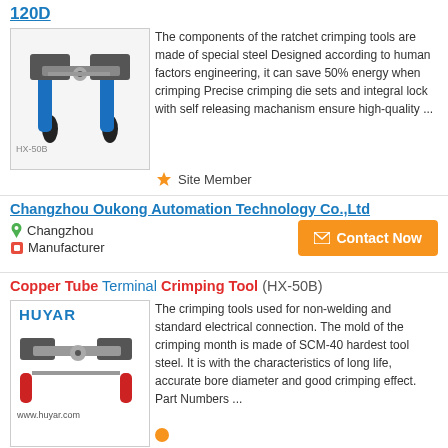120D
[Figure (photo): Ratchet crimping tool with blue handles, labeled HX-50B]
The components of the ratchet crimping tools are made of special steel Designed according to human factors engineering, it can save 50% energy when crimping Precise crimping die sets and integral lock with self releasing machanism ensure high-quality ...
Site Member
Changzhou Oukong Automation Technology Co.,Ltd
Changzhou
Manufacturer
Contact Now
Copper Tube Terminal Crimping Tool (HX-50B)
[Figure (photo): Crimping tool with red handles, HUYAR brand logo, www.huyar.com]
The crimping tools used for non-welding and standard electrical connection. The mold of the crimping month is made of SCM-40 hardest tool steel. It is with the characteristics of long life, accurate bore diameter and good crimping effect. Part Numbers ...